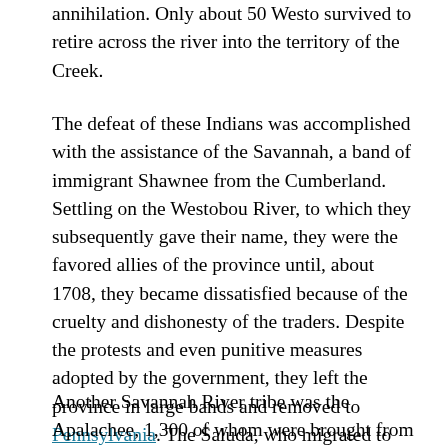annihilation. Only about 50 Westo survived to retire across the river into the territory of the Creek.
The defeat of these Indians was accomplished with the assistance of the Savannah, a band of immigrant Shawnee from the Cumberland. Settling on the Westobou River, to which they subsequently gave their name, they were the favored allies of the province until, about 1708, they became dissatisfied because of the cruelty and dishonesty of the traders. Despite the protests and even punitive measures adopted by the government, they left the province in large bands and removed to Pennsylvania. The Saluda, who migrated to the same region from the Saluda River about 1711, contemporaneously with a number of Savannah, were probably an independent band of that tribe.
Another Savannah River tribe was the Apalachee, 1,300 of whom were brought from Florida as free Indians by Governor Moore in 1704, following his expedition against the